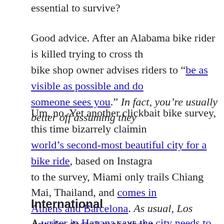essential to survive?
Good advice. After an Alabama bike rider is killed trying to cross th... bike shop owner advises riders to "be as visible as possible and do... someone sees you." In fact, you're usually better off assuming they...
Um, no. Yet another clickbait bike survey, this time bizarrely claimin... world's second-most beautiful city for a bike ride, based on Instagra... to the survey, Miami only trails Chiang Mai, Thailand, and comes in... Athens and Barcelona. As usual, Los Angeles doesn't make that c...
International
A writer in Havana says the city needs to reclaim its bike lanes, ma... ripped out in favor of cars during the last decade, and that the com... needs to put more bikes on the market — and maybe build them th...
In a socially distanced fundraiser, a record-holding, ultra-marathon... Canada grandfather will ride his bike for 24 hours to pick up checks... help feed orphaned kids in Kenya.
A reminder to ride carefully around other bicyclists, as a 62-year ol...